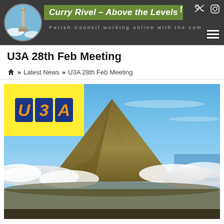Curry Rivel – Above the Levels | Parish Council working online with the com
U3A 28th Feb Meeting
⌂ » Latest News » U3A 28th Feb Meeting
[Figure (photo): U3A logo (yellow background with blue letter tiles U, 3, A) overlaid on a photograph of a volcanic mountain peak rising above clouds, with blue sky above.]